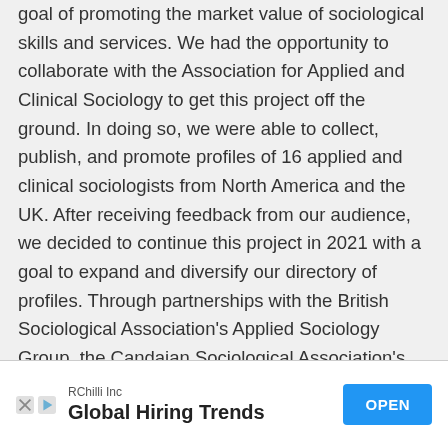goal of promoting the market value of sociological skills and services. We had the opportunity to collaborate with the Association for Applied and Clinical Sociology to get this project off the ground. In doing so, we were able to collect, publish, and promote profiles of 16 applied and clinical sociologists from North America and the UK. After receiving feedback from our audience, we decided to continue this project in 2021 with a goal to expand and diversify our directory of profiles. Through partnerships with the British Sociological Association's Applied Sociology Group, the Candaian Sociological Association's Applied Sociology Research Cluster, the ASA section on Sociological Practice and Public
[Figure (other): Advertisement banner for RChilli Inc - Global Hiring Trends with an OPEN button]